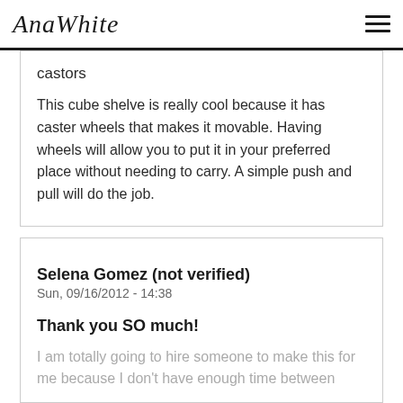AnaWhite
castors
This cube shelve is really cool because it has caster wheels that makes it movable. Having wheels will allow you to put it in your preferred place without needing to carry. A simple push and pull will do the job.
Log in or register to post comments
Selena Gomez (not verified)
Sun, 09/16/2012 - 14:38
Thank you SO much!
I am totally going to hire someone to make this for me because I don't have enough time between